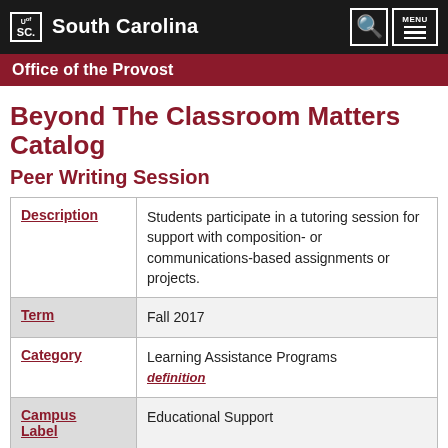South Carolina — Office of the Provost
Beyond The Classroom Matters Catalog
Peer Writing Session
| Field | Value |
| --- | --- |
| Description | Students participate in a tutoring session for support with composition- or communications-based assignments or projects. |
| Term | Fall 2017 |
| Category | Learning Assistance Programs
definition |
| Campus Label | Educational Support |